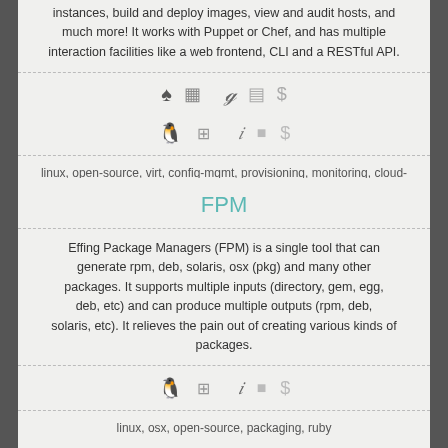instances, build and deploy images, view and audit hosts, and much more! It works with Puppet or Chef, and has multiple interaction facilities like a web frontend, CLI and a RESTful API.
[Figure (infographic): Row of platform/feature icons: Linux penguin, Windows grid, Apple logo, ruby gem, a faded icon, dollar sign]
linux, open-source, virt, config-mgmt, provisioning, monitoring, cloud-paas, ruby
FPM
Effing Package Managers (FPM) is a single tool that can generate rpm, deb, solaris, osx (pkg) and many other packages. It supports multiple inputs (directory, gem, egg, deb, etc) and can produce multiple outputs (rpm, deb, solaris, etc). It relieves the pain out of creating various kinds of packages.
[Figure (infographic): Row of platform/feature icons: Linux penguin, Windows grid, Apple logo (dark), ruby gem, a faded icon, dollar sign]
linux, osx, open-source, packaging, ruby